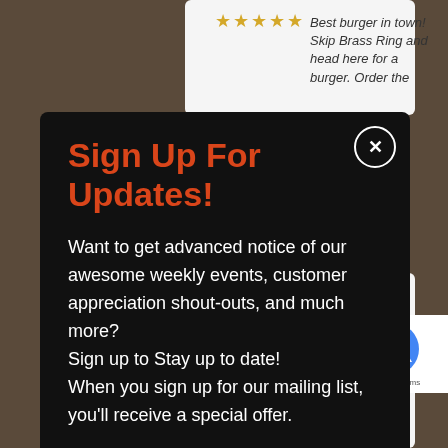Best burger in town! Skip Brass Ring and head here for a burger. Order the
Sign Up For Updates!
Want to get advanced notice of our awesome weekly events, customer appreciation shout-outs, and much more?
Sign up to Stay up to date!
When you sign up for our mailing list, you'll receive a special offer.
*Email
First N...
cheap. Can't complain about that. The staff is nice and they're quick to greet you and make sure